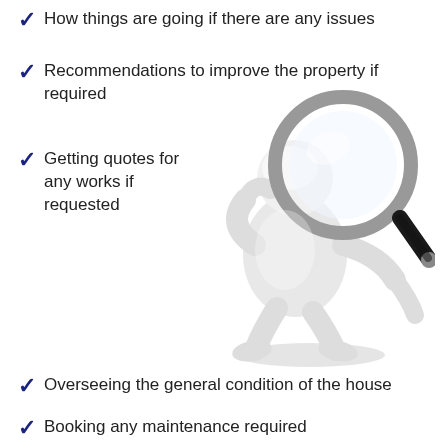How things are going if there are any issues
Recommendations to improve the property if required
Getting quotes for any works if requested
[Figure (illustration): 3D white humanoid figure holding a large magnifying glass, inspection/survey character]
Overseeing the general condition of the house
Booking any maintenance required